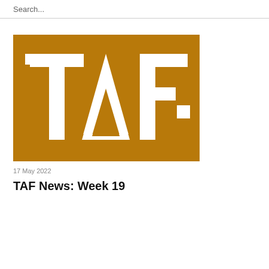Search...
[Figure (logo): TAF logo — golden/amber brown square background with large white stylized letters T, A, F. The T has a small white square to its upper left. The A is a triangle shape. The F has a small white square at its lower right.]
17 May 2022
TAF News: Week 19